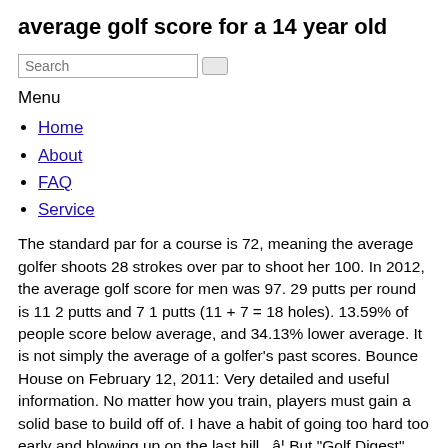average golf score for a 14 year old
Search
Menu
Home
About
FAQ
Service
The standard par for a course is 72, meaning the average golfer shoots 28 strokes over par to shoot her 100. In 2012, the average golf score for men was 97. 29 putts per round is 11 2 putts and 7 1 putts (11 + 7 = 18 holes). 13.59% of people score below average, and 34.13% lower average. It is not simply the average of a golfer's past scores. Bounce House on February 12, 2011: Very detailed and useful information. No matter how you train, players must gain a solid base to build off of. I have a habit of going too hard too early and blowing up on the last hill , â¦ But "Golf Digest" notes that most golfers don't participate in the USGA system. A 15 year old male usually averages about 230-240 yards, I. am 14 and i hit around 250-260, but im 6 ft tall. A comparatively small number of young golfers (under 20) and older golfers (over